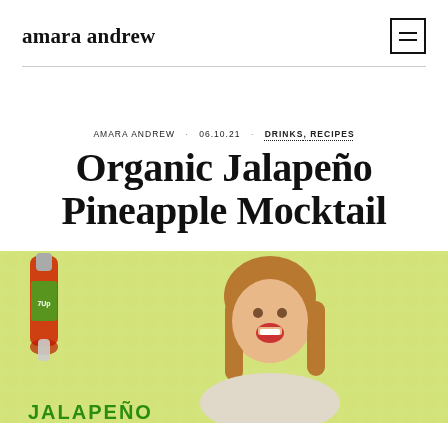amara andrew
AMARA ANDREW · 06.10.21 · DRINKS, RECIPES
Organic Jalapeño Pineapple Mocktail
[Figure (photo): Woman with surprised/excited expression holding a bottle, with a yellow-green textured background and 'JALAPEÑO' text at bottom]